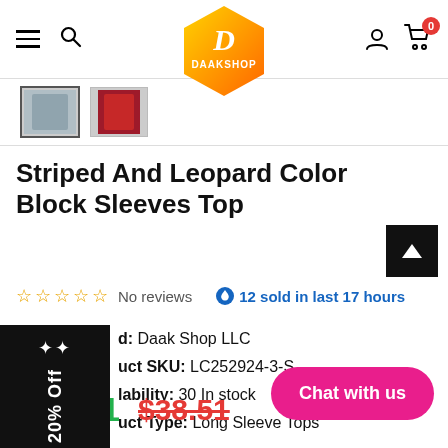[Figure (screenshot): Daakshop e-commerce website header with hamburger menu, search icon, hexagonal orange-yellow logo with letter D and DAAKSHOP text, profile icon, and cart icon with badge showing 0]
[Figure (photo): Product image strip showing two thumbnail images of clothing item]
Striped And Leopard Color Block Sleeves Top
No reviews   12 sold in last 17 hours
Brand: Daak Shop LLC
Product SKU: LC252924-3-S
Availability: 30 In stock
Product Type: Long Sleeve Tops
$23.51  $38.51
Color: Red